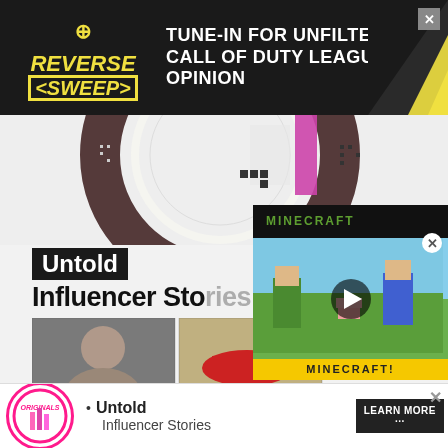[Figure (screenshot): Top banner advertisement for 'Reverse Sweep' podcast/show with text 'TUNE-IN FOR UNFILTERED CALL OF DUTY LEAGUE OPINION' on dark background with yellow chevron graphic and close X button]
[Figure (screenshot): Circular decorative graphic with dark brown/maroon and white elements, pink/magenta bar, and dot patterns on light gray background - partial view]
Untold
Influencer Stories
[Figure (photo): Grid of four photos: top-left shows a man's face (portrait), top-right shows a red sports car, bottom-left shows a group scene, bottom-right shows a blurred dark figure. Partially overlapped by Minecraft video ad overlay.]
[Figure (screenshot): Minecraft video advertisement overlay with yellow background, dark header bar showing MINECRAFT logo text, green landscape scene with play button, and MINECRAFT! label at bottom with close X button]
[Figure (screenshot): Bottom banner advertisement showing Originals circular logo with pink border, bullet point for 'Untold Influencer Stories', and 'LEARN MORE' button with close X button]